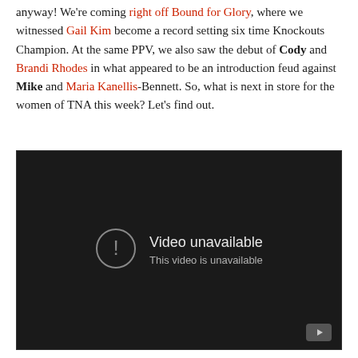anyway! We're coming right off Bound for Glory, where we witnessed Gail Kim become a record setting six time Knockouts Champion. At the same PPV, we also saw the debut of Cody and Brandi Rhodes in what appeared to be an introduction feud against Mike and Maria Kanellis-Bennett. So, what is next in store for the women of TNA this week? Let's find out.
[Figure (screenshot): Embedded video player showing 'Video unavailable - This video is unavailable' message on a dark background with a YouTube play button icon in the bottom right corner.]